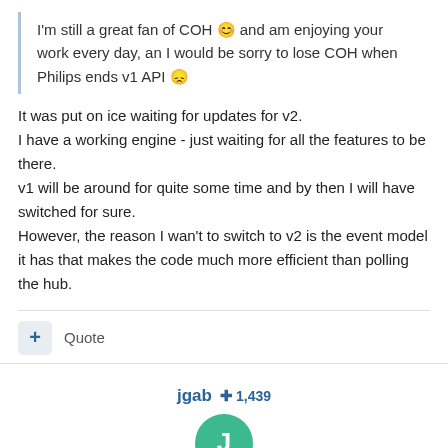I'm still a great fan of COH 😊 and am enjoying your work every day, an I would be sorry to lose COH when Philips ends v1 API 😞
It was put on ice waiting for updates for v2.
I have a working engine - just waiting for all the features to be there.
v1 will be around for quite some time and by then I will have switched for sure.
However, the reason I wan't to switch to v2 is the event model it has that makes the code much more efficient than polling the hub.
Quote
jgab  +1,439